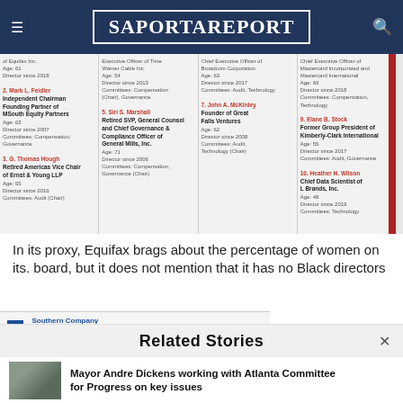SaportaReport
[Figure (table-as-image): Equifax Board of Directors table showing 10 directors with names highlighted in red, titles, ages, director-since dates, and committee memberships across 4 columns]
In its proxy, Equifax brags about the percentage of women on its. board, but it does not mention that it has no Black directors
[Figure (screenshot): Southern Company Board of Director Nominees document thumbnail]
Related Stories
Mayor Andre Dickens working with Atlanta Committee for Progress on key issues